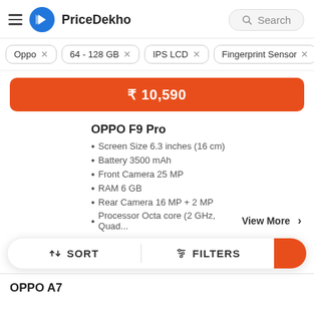PriceDekho
Oppo ×
64 - 128 GB ×
IPS LCD ×
Fingerprint Sensor ×
₹ 10,590
OPPO F9 Pro
Screen Size 6.3 inches (16 cm)
Battery 3500 mAh
Front Camera 25 MP
RAM 6 GB
Rear Camera 16 MP + 2 MP
Processor Octa core (2 GHz, Quad...
View More >
↕ SORT   ⚙ FILTERS
OPPO A7